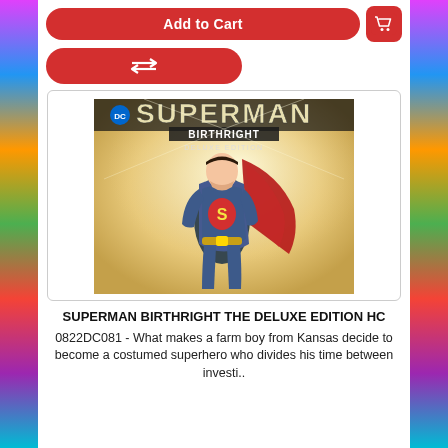[Figure (screenshot): Add to Cart red button with shopping cart icon]
[Figure (screenshot): Red transfer/compare button with double arrow icon]
[Figure (photo): Superman Birthright Deluxe Edition HC comic book cover showing Superman in blue suit with red cape, DC logo at top, glowing background]
SUPERMAN BIRTHRIGHT THE DELUXE EDITION HC
0822DC081 - What makes a farm boy from Kansas decide to become a costumed superhero who divides his time between investi..